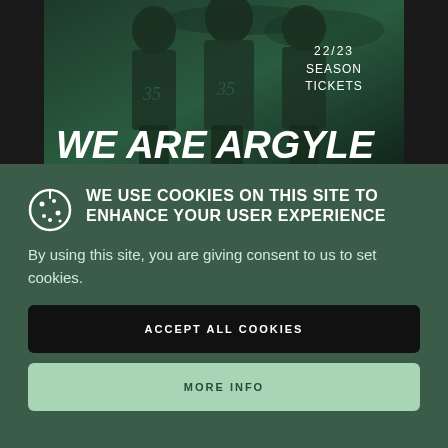[Figure (photo): Plymouth Argyle 22/23 Season Tickets promotional banner. Three football players in green Argyle jerseys posed against a dark stadium background. Text reads 'WE ARE ARGYLE' in large italic white letters. Upper right shows '22/23 SEASON TICKETS' in white uppercase letters.]
WE USE COOKIES ON THIS SITE TO ENHANCE YOUR USER EXPERIENCE
By using this site, you are giving consent to us to set cookies.
ACCEPT ALL COOKIES
MORE INFO